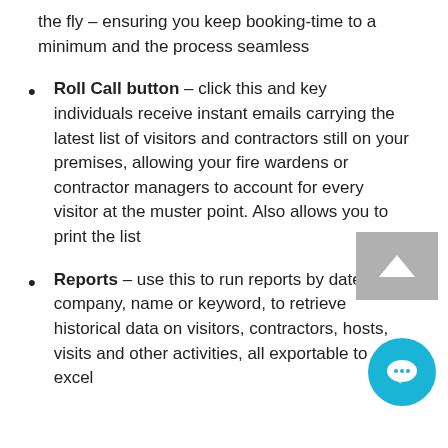the fly – ensuring you keep booking-time to a minimum and the process seamless
Roll Call button – click this and key individuals receive instant emails carrying the latest list of visitors and contractors still on your premises, allowing your fire wardens or contractor managers to account for every visitor at the muster point. Also allows you to print the list
Reports – use this to run reports by date, company, name or keyword, to retrieve historical data on visitors, contractors, hosts, visits and other activities, all exportable to excel